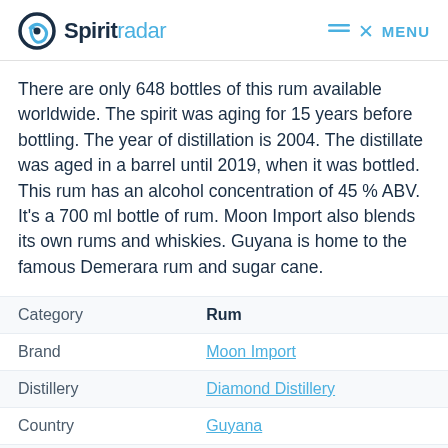Spirit radar  MENU
There are only 648 bottles of this rum available worldwide. The spirit was aging for 15 years before bottling. The year of distillation is 2004. The distillate was aged in a barrel until 2019, when it was bottled. This rum has an alcohol concentration of 45 % ABV. It's a 700 ml bottle of rum. Moon Import also blends its own rums and whiskies. Guyana is home to the famous Demerara rum and sugar cane.
| Category | Value |
| --- | --- |
| Category | Rum |
| Brand | Moon Import |
| Distillery | Diamond Distillery |
| Country | Guyana |
| Alc. Volume | 45.0 % |